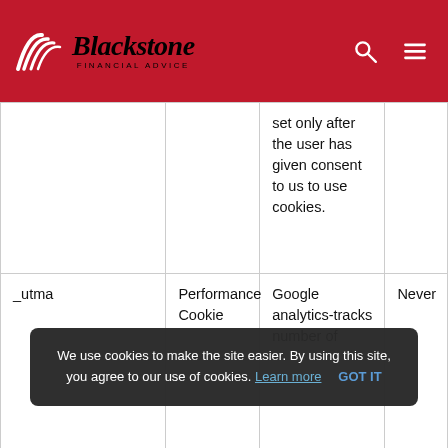[Figure (logo): Blackstone Financial Advice logo with red arc/wave icon and italic serif text]
| Cookie Name | Type | Description | Expiry |
| --- | --- | --- | --- |
|  |  | set only after the user has given consent to us to use cookies. |  |
| _utma | Performance Cookie | Google analytics- tracks number of | Never |
We use cookies to make the site easier. By using this site, you agree to our use of cookies. Learn more   GOT IT